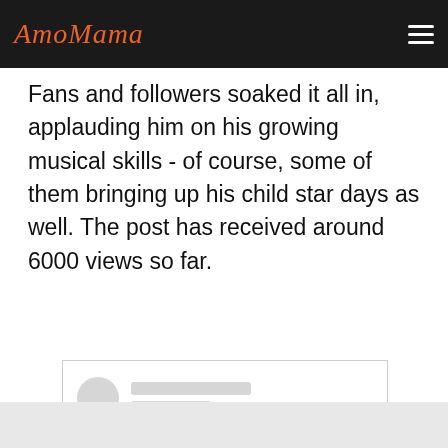AmoMama
Fans and followers soaked it all in, applauding him on his growing musical skills - of course, some of them bringing up his child star days as well. The post has received around 6000 views so far.
[Figure (screenshot): Embedded Instagram post placeholder with avatar, username skeleton lines, and Instagram logo icon in the center of the embed box.]